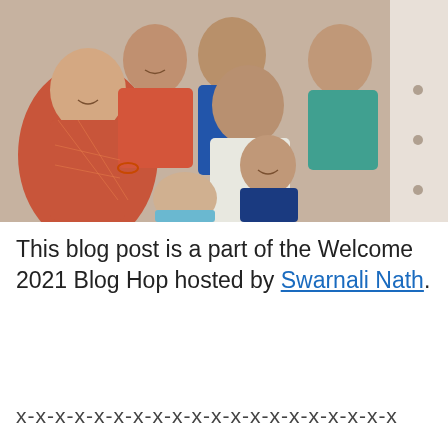[Figure (photo): A family group photo with several adults and two children, some wearing traditional Indian attire in orange, blue, and teal colors.]
This blog post is a part of the Welcome 2021 Blog Hop hosted by Swarnali Nath.
x-x-x-x-x-x-x-x-x-x-x-x-x-x-x-x-x-x-x-x